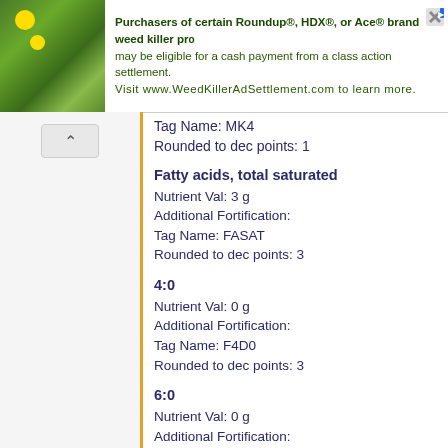[Figure (screenshot): Web browser advertisement banner: image of yellow flowers on the left, text about Roundup/HDX/Ace weed killer class action settlement on the right, with URL www.WeedKillerAdSettlement.com]
Tag Name: MK4
Rounded to dec points: 1
Fatty acids, total saturated
Nutrient Val: 3 g
Additional Fortification:
Tag Name: FASAT
Rounded to dec points: 3
4:0
Nutrient Val: 0 g
Additional Fortification:
Tag Name: F4D0
Rounded to dec points: 3
6:0
Nutrient Val: 0 g
Additional Fortification:
Tag Name: F6D0
Rounded to dec points: 3
8:0